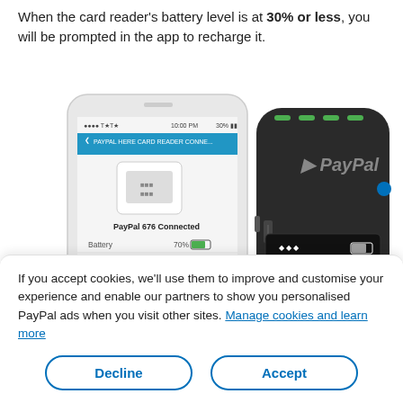When the card reader's battery level is at 30% or less, you will be prompted in the app to recharge it.
[Figure (screenshot): Smartphone showing PayPal Here Card Reader Connected screen with Battery at 70% and a PayPal card reader device showing 'Ready to accept payments.' on its display screen.]
If you accept cookies, we'll use them to improve and customise your experience and enable our partners to show you personalised PayPal ads when you visit other sites. Manage cookies and learn more
Decline
Accept